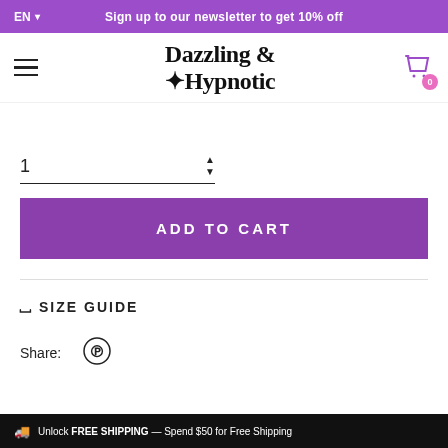EN  Sign up to our newsletter to get 10% off
[Figure (logo): Dazzling & Hypnotic brand logo in decorative serif font with sparkle elements]
1
ADD TO CART
SIZE GUIDE
Share:
[Figure (other): Pinterest share icon (circle with P)]
Unlock FREE SHIPPING — Spend $50 for Free Shipping